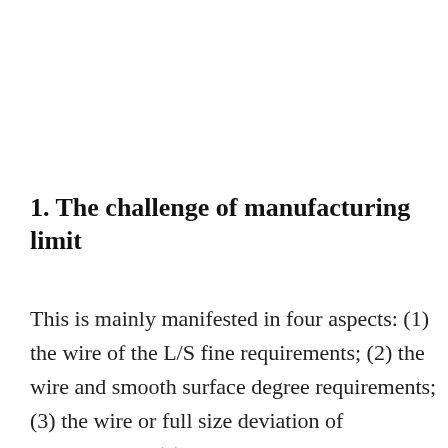1. The challenge of manufacturing limit
This is mainly manifested in four aspects: (1) the wire of the L/S fine requirements; (2) the wire and smooth surface degree requirements; (3) the wire or full size deviation of requirements; (4) the wire